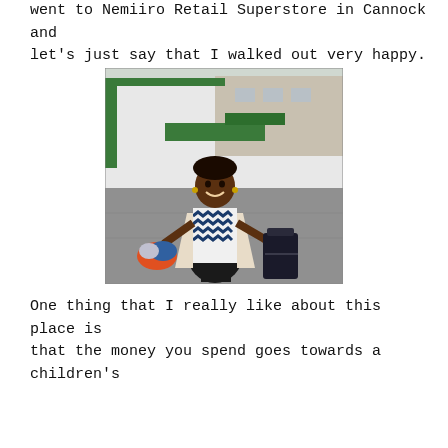went to Nemiiro Retail Superstore in Cannock and let's just say that I walked out very happy.
[Figure (photo): A smiling woman standing outdoors in a car park in front of a green and white retail store building. She is wearing a black and white zigzag patterned top and a cream coat, holding colourful clothing items in one arm and a dark suitcase or bag in the other hand.]
One thing that I really like about this place is that the money you spend goes towards a children's